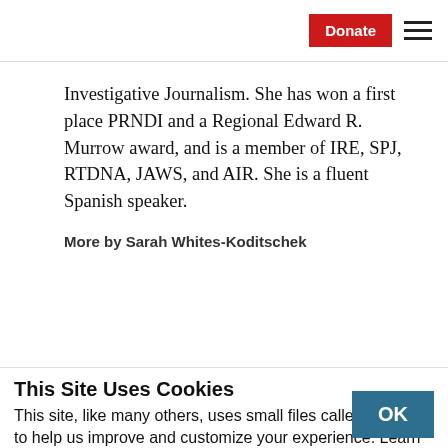Donate [button] [hamburger menu]
Investigative Journalism. She has won a first place PRNDI and a Regional Edward R. Murrow award, and is a member of IRE, SPJ, RTDNA, JAWS, and AIR. She is a fluent Spanish speaker.
More by Sarah Whites-Koditschek
This Site Uses Cookies
This site, like many others, uses small files called cookies to help us improve and customize your experience. Learn more about how we use cookies in our cookie policy.